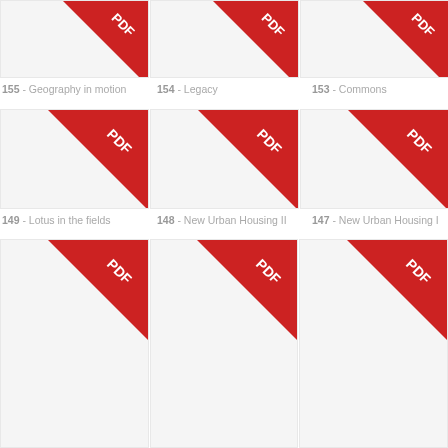[Figure (other): PDF icon thumbnail for item 155 - Geography in motion]
155 - Geography in motion
[Figure (other): PDF icon thumbnail for item 154 - Legacy]
154 - Legacy
[Figure (other): PDF icon thumbnail for item 153 - Commons]
153 - Commons
[Figure (other): PDF icon thumbnail for item 149 - Lotus in the fields]
149 - Lotus in the fields
[Figure (other): PDF icon thumbnail for item 148 - New Urban Housing II]
148 - New Urban Housing II
[Figure (other): PDF icon thumbnail for item 147 - New Urban Housing I]
147 - New Urban Housing I
[Figure (other): PDF icon thumbnail (partial, bottom row)]
[Figure (other): PDF icon thumbnail (partial, bottom row)]
[Figure (other): PDF icon thumbnail (partial, bottom row)]